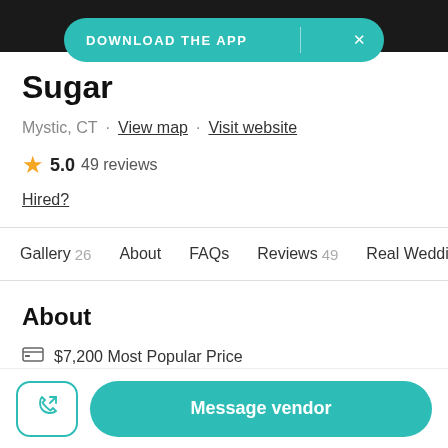DOWNLOAD THE APP
Sugar
Mystic, CT · View map · Visit website
5.0  49 reviews
Hired?
Gallery 26   About   FAQs   Reviews 49   Real Weddin
About
$7,200 Most Popular Price
Message vendor